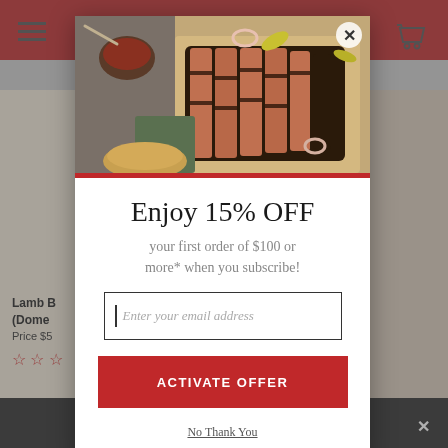[Figure (screenshot): Background website page showing red header bar, navigation menu icon, shopping cart icon, product images on left and right sides, product text partially visible ('Lamb B... (Dome...', 'Price $5...'), star ratings, and dark bottom bar with X button.]
[Figure (photo): Food photograph showing sliced BBQ brisket on a wooden cutting board with sauce bowl, banana peppers, and onion rings garnish.]
Enjoy 15% OFF
your first order of $100 or more* when you subscribe!
Enter your email address
ACTIVATE OFFER
No Thank You